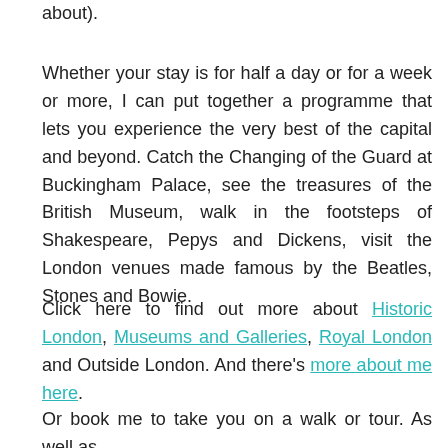about).
Whether your stay is for half a day or for a week or more, I can put together a programme that lets you experience the very best of the capital and beyond. Catch the Changing of the Guard at Buckingham Palace, see the treasures of the British Museum, walk in the footsteps of Shakespeare, Pepys and Dickens, visit the London venues made famous by the Beatles, Stones and Bowie.
Click here to find out more about Historic London, Museums and Galleries, Royal London and Outside London. And there's more about me here.
Or book me to take you on a walk or tour. As well as